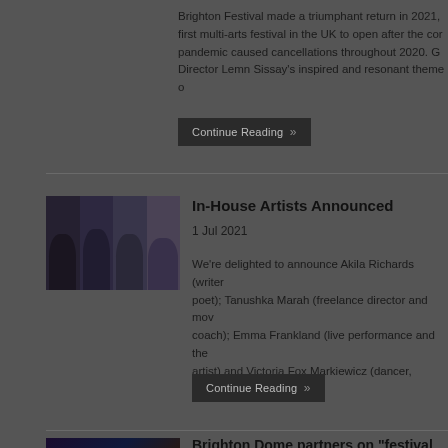Brighton Festival made a triumphant return in 2021, first multi-arts festival in the UK to open after the coronavirus pandemic caused cancellations throughout 2020. Guest Director Lemn Sissay's inspired and resonant theme of...
Continue Reading »
[Figure (photo): Four portrait photos of artists side by side in dark tones]
In-House Artists Announced
1 Jul 2021
We're delighted to announce Akila Richards (writer poet); Tanushka Marah (freelance director and movement coach); Emma Frankland (live performance and theatre artist) and Victoria Fox Markiewicz (dancer, choreog...
Continue Reading »
[Figure (photo): Dark photo with colorful lights, appears to be a performance or event venue]
Brighton Dome partners on "festival of the future" support artistic innovation through technology
19 May 2021